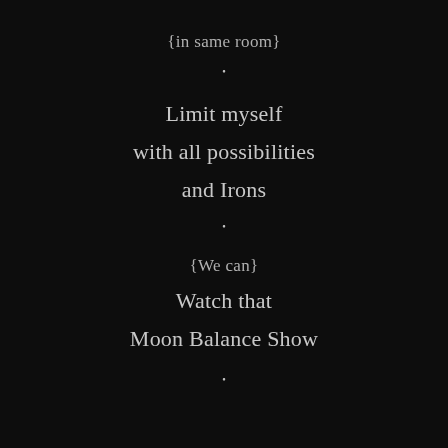{in same room}
•
Limit myself
with all possibilities
and Irons
•
{We can}
Watch that
Moon Balance Show
•